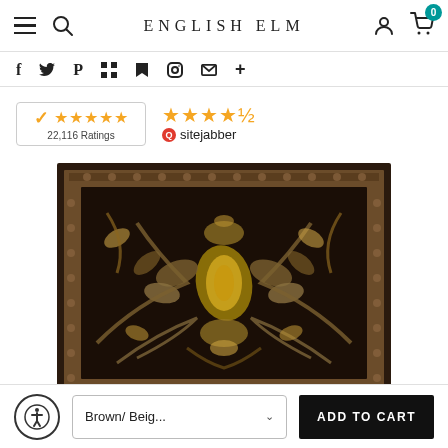ENGLISH ELM
[Figure (screenshot): Social media sharing icons row: Facebook, Twitter, Pinterest, Flipboard, Tumblr, Instagram, Email, Plus]
[Figure (logo): Reseller Ratings badge: checkmark, 5 orange stars, 22,116 Ratings]
[Figure (logo): SiteJabber rating: 4.5 orange stars with SiteJabber logo]
[Figure (photo): Dark brown traditional ornamental area rug with floral and scroll patterns in beige/gold tones, bordered design]
Brown/ Beig...
ADD TO CART